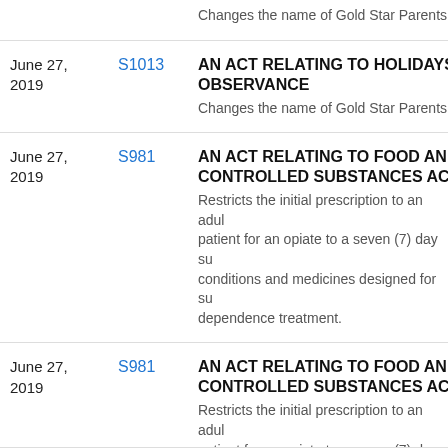Changes the name of Gold Star Parents
June 27, 2019
S1013
AN ACT RELATING TO HOLIDAYS; OBSERVANCE
Changes the name of Gold Star Parents D
June 27, 2019
S981
AN ACT RELATING TO FOOD AND DRUGS; CONTROLLED SUBSTANCES ACT
Restricts the initial prescription to an adult patient for an opiate to a seven (7) day su conditions and medicines designed for su dependence treatment.
June 27, 2019
S981
AN ACT RELATING TO FOOD AND DRUGS; CONTROLLED SUBSTANCES ACT
Restricts the initial prescription to an adult patient for an opiate to a seven (7) day su conditions and medicines designed for su dependence treatment.